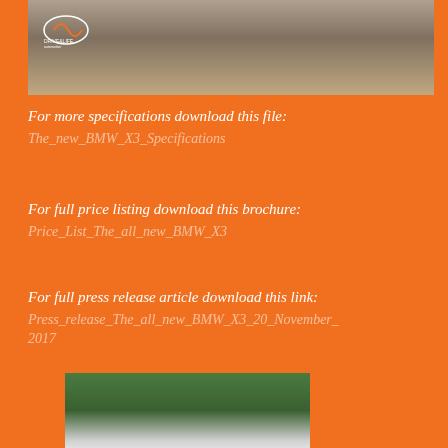[Figure (photo): Top photo showing a BMW X3 on a brick paved surface, with a logo overlay in the top-left corner]
For more specifications download this file:
The_new_BMW_X3_Specifications
For full price listing download this brochure:
Price_List_The_all_new_BMW_X3
For full press release article download this link:
Press_release_The_all_new_BMW_X3_20_November_2017
[Figure (photo): Bottom photo showing a white BMW X3 parked in front of green trees]